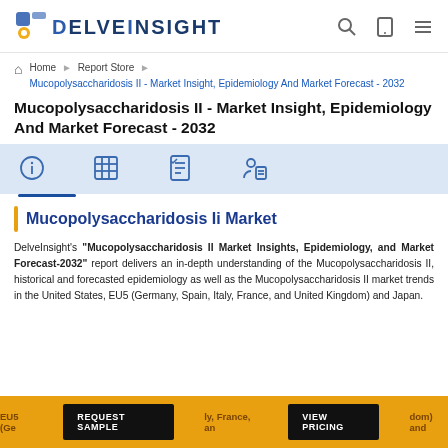DelveInsight
Home > Report Store > Mucopolysaccharidosis II - Market Insight, Epidemiology And Market Forecast - 2032
Mucopolysaccharidosis II - Market Insight, Epidemiology And Market Forecast - 2032
[Figure (other): Tab bar with four icons: info, grid/table, checklist, person with document]
Mucopolysaccharidosis Ii Market
DelveInsight's "Mucopolysaccharidosis II Market Insights, Epidemiology, and Market Forecast-2032" report delivers an in-depth understanding of the Mucopolysaccharidosis II, historical and forecasted epidemiology as well as the Mucopolysaccharidosis II market trends in the United States, EU5 (Germany, Spain, Italy, France, and United Kingdom) and Japan.